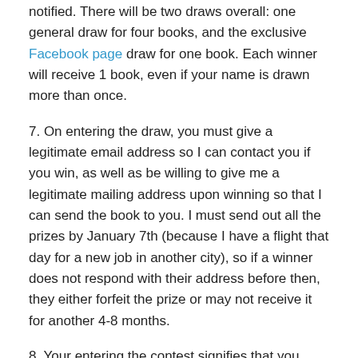notified. There will be two draws overall: one general draw for four books, and the exclusive Facebook page draw for one book. Each winner will receive 1 book, even if your name is drawn more than once.
7. On entering the draw, you must give a legitimate email address so I can contact you if you win, as well as be willing to give me a legitimate mailing address upon winning so that I can send the book to you. I must send out all the prizes by January 7th (because I have a flight that day for a new job in another city), so if a winner does not respond with their address before then, they either forfeit the prize or may not receive it for another 4-8 months.
8. Your entering the contest signifies that you understand and accept the Mandingueira Holiday Giveaway Official Contest Rules.